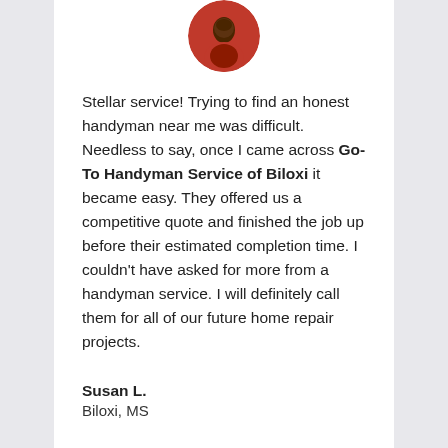[Figure (photo): Circular avatar photo of a person wearing a red jacket, cropped to a circle, partially visible at the top of the card.]
Stellar service! Trying to find an honest handyman near me was difficult. Needless to say, once I came across Go-To Handyman Service of Biloxi it became easy. They offered us a competitive quote and finished the job up before their estimated completion time. I couldn't have asked for more from a handyman service. I will definitely call them for all of our future home repair projects.
Susan L.
Biloxi, MS